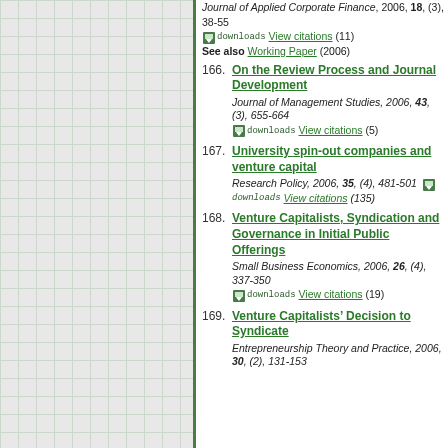[Figure (other): Left panel with grid background pattern and green border]
166. On the Review Process and Journal Development — Journal of Management Studies, 2006, 43, (3), 655-664 — View citations (5)
167. University spin-out companies and venture capital — Research Policy, 2006, 35, (4), 481-501 — View citations (135)
168. Venture Capitalists, Syndication and Governance in Initial Public Offerings — Small Business Economics, 2006, 26, (4), 337-350 — View citations (19)
169. Venture Capitalists’ Decision to Syndicate — Entrepreneurship Theory and Practice, 2006, 30, (2), 131-153